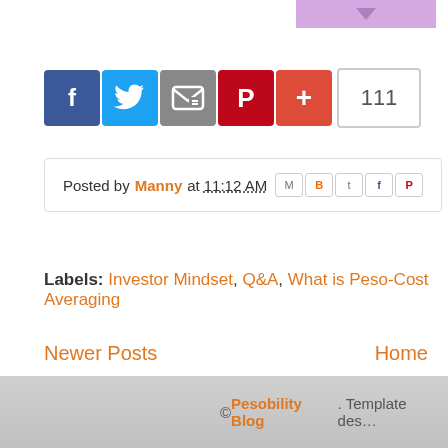[Figure (other): Purple button with downward arrow at top of page]
[Figure (other): Social share bar with Facebook, Twitter, Email, Pinterest, Plus buttons and count of 111]
Posted by Manny at 11:12 AM [social share icons: Gmail, Blogger, Twitter, Facebook, Pinterest]
Labels: Investor Mindset, Q&A, What is Peso-Cost Averaging
Newer Posts    Home
© Pesobility Blog. Template des...